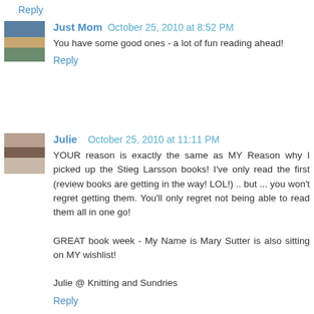Reply
Just Mom   October 25, 2010 at 8:52 PM
You have some good ones - a lot of fun reading ahead!
Reply
Julie   October 25, 2010 at 11:11 PM
YOUR reason is exactly the same as MY Reason why I picked up the Stieg Larsson books! I've only read the first (review books are getting in the way! LOL!) .. but ... you won't regret getting them. You'll only regret not being able to read them all in one go!

GREAT book week - My Name is Mary Sutter is also sitting on MY wishlist!

Julie @ Knitting and Sundries
Reply